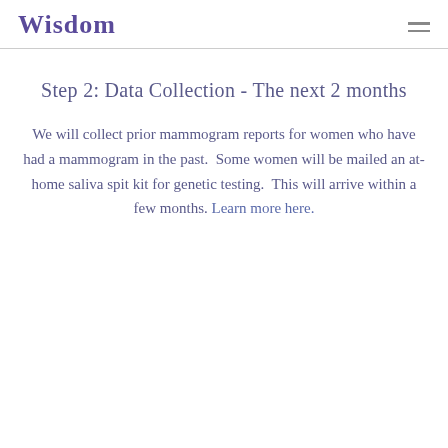Wisdom
Step 2: Data Collection - The next 2 months
We will collect prior mammogram reports for women who have had a mammogram in the past.  Some women will be mailed an at-home saliva spit kit for genetic testing.  This will arrive within a few months. Learn more here.